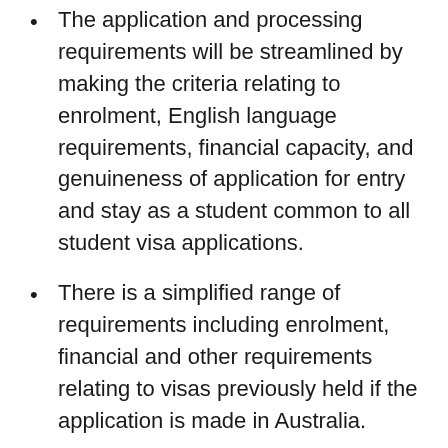The application and processing requirements will be streamlined by making the criteria relating to enrolment, English language requirements, financial capacity, and genuineness of application for entry and stay as a student common to all student visa applications.
There is a simplified range of requirements including enrolment, financial and other requirements relating to visas previously held if the application is made in Australia.
The current regulatory assessment level framework will be repealed and instead there will be streamlined processing